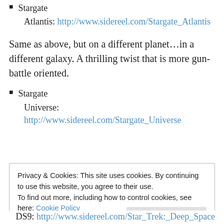Stargate
Atlantis: http://www.sidereel.com/Stargate_Atlantis
Same as above, but on a different planet…in a different galaxy. A thrilling twist that is more gun-battle oriented.
Stargate
Universe: http://www.sidereel.com/Stargate_Universe
Privacy & Cookies: This site uses cookies. By continuing to use this website, you agree to their use.
To find out more, including how to control cookies, see here: Cookie Policy
DS9: http://www.sidereel.com/Star_Trek:_Deep_Space